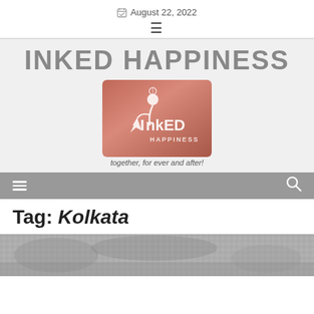August 22, 2022
INKED HAPPINESS
[Figure (logo): Inked Happiness logo: pink/rose watercolor background with white stylized pen nib and person figure, text 'INKED HAPPINESS' below the figure]
together, for ever and after!
Tag: Kolkata
[Figure (photo): Partial photo at bottom of page, appears to be an outdoor scene, grayscale/muted tones]